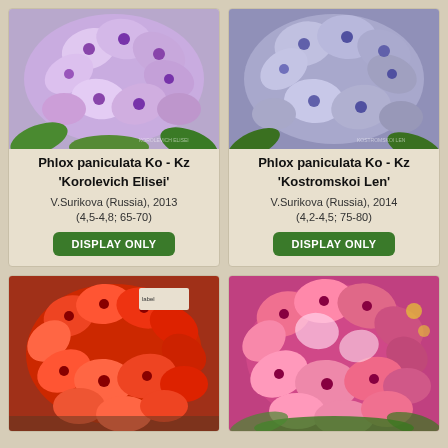[Figure (photo): Close-up of light purple/lavender Phlox paniculata flowers 'Korolevich Elisei']
Phlox paniculata Ko - Kz 'Korolevich Elisei'
V.Surikova (Russia), 2013
(4,5-4,8; 65-70)
DISPLAY ONLY
[Figure (photo): Close-up of violet/purple Phlox paniculata flowers 'Kostromskoi Len']
Phlox paniculata Ko - Kz 'Kostromskoi Len'
V.Surikova (Russia), 2014
(4,2-4,5; 75-80)
DISPLAY ONLY
[Figure (photo): Red/pink Phlox flower cluster photographed outdoors]
[Figure (photo): Pink and magenta Phlox flower cluster with green foliage]